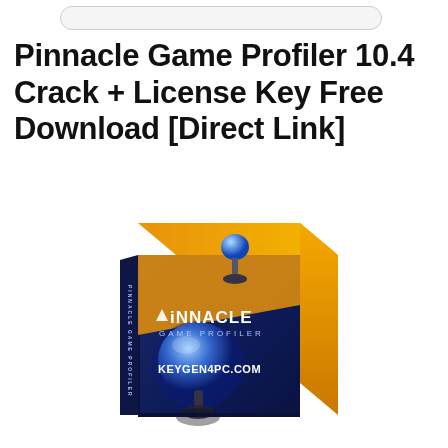Pinnacle Game Profiler 10.4 Crack + License Key Free Download [Direct Link]
[Figure (illustration): Box art for Pinnacle Game Profiler software. A 3D product box with orange top and dark navy blue front panel. The front shows a blue joystick/gamepad image, the text 'Pinnacle GAME PROFILER' in stylized lettering with a triangle P logo, and a watermark 'KEYGEN4PC.COM' in bold white text at the bottom. The spine reads 'PINNACLE GAME PROFILER'. The top of the box has an orange-gold color with a metallic joystick figurine icon.]